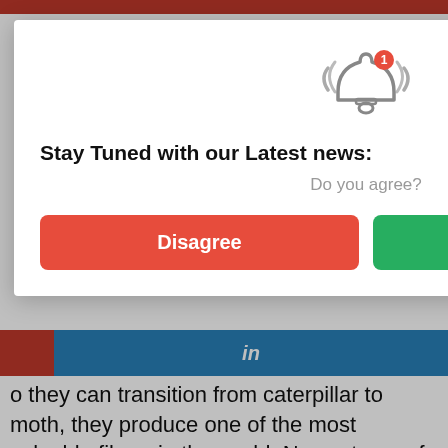worms that silk
[Figure (screenshot): Social sharing buttons: red button and blue LinkedIn button with 'in' label]
o they can transition from caterpillar to moth, they produce one of the most valuable fibres in the world. Now a team of researchers has edited silkworm genes so that, in addition to producing their own silk, they spin that of another creature – the golden orb weaver spider.
Spider silk is incredible stuff. It has amazingly high tensile strength and ductility, which also makes it
[Figure (screenshot): Modal dialog overlay with bell notification icon, title 'Stay Tuned with our Latest news:', subtitle 'Do you agree?', and two buttons: red 'Disagree' and green 'Agree'. Close (×) button at top right.]